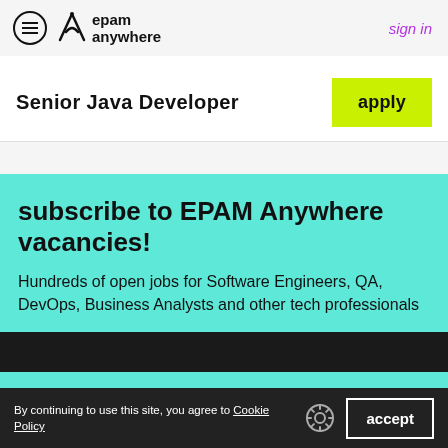[Figure (logo): EPAM Anywhere logo with hamburger menu icon, stylized A/arrow icon, and text 'epam anywhere'. Sign in link in purple on the right.]
Senior Java Developer
apply
subscribe to EPAM Anywhere vacancies!
Hundreds of open jobs for Software Engineers, QA, DevOps, Business Analysts and other tech professionals
By continuing to use this site, you agree to Cookie Policy
accept